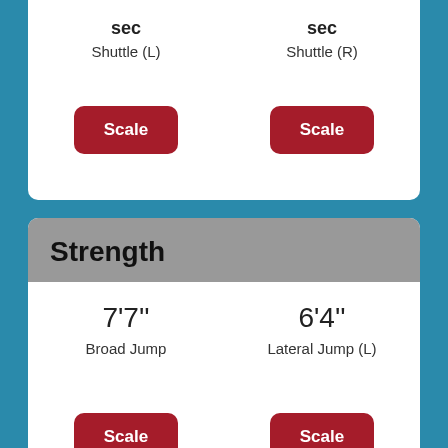sec
Shuttle (L)
sec
Shuttle (R)
Scale
Scale
Strength
7'7''
6'4''
Broad Jump
Lateral Jump (L)
Scale
Scale